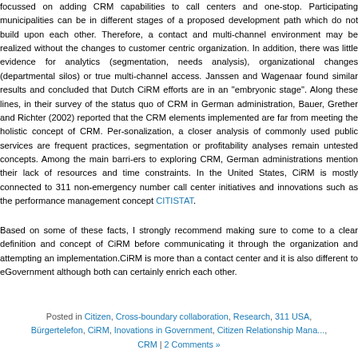focussed on adding CRM capabilities to call centers and one-stop. Participating municipalities can be in different stages of a proposed development path which do not build upon each other. Therefore, a contact and multi-channel environment may be realized without the changes to customer centric organization. In addition, there was little evidence for analytics (segmentation, needs analysis), organizational changes (departmental silos) or true multi-channel access. Janssen and Wagenaar found similar results and concluded that Dutch CiRM efforts are in an "embryonic stage". Along these lines, in their survey of the status quo of CRM in German administration, Bauer, Grether and Richter (2002) reported that the CRM elements implemented are far from meeting the holistic concept of CRM. Per-sonalization, a closer analysis of commonly used public services are frequent practices, segmentation or profitability analyses remain untested concepts. Among the main barriers to exploring CRM, German administrations mention their lack of resources and time constraints. In the United States, CiRM is mostly connected to 311 non-emergency number call center initiatives and innovations such as the performance management concept CITISTAT.
Based on some of these facts, I strongly recommend making sure to come to a clear definition and concept of CiRM before communicating it through the organization and attempting an implementation.CiRM is more than a contact center and it is also different to eGovernment although both can certainly enrich each other.
Posted in Citizen, Cross-boundary collaboration, Research, 311 USA, Bürgertelefon, CiRM, Inovations in Government, Citizen Relationship Management, CRM | 2 Comments »